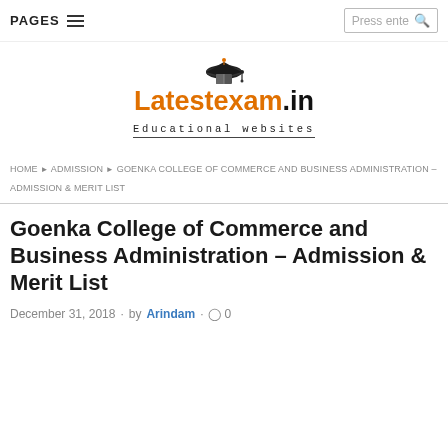PAGES ☰  |  Press ente 🔍
[Figure (logo): Latestexam.in logo with graduation cap icon and subtitle 'Educational websites']
HOME ▶ ADMISSION ▶ GOENKA COLLEGE OF COMMERCE AND BUSINESS ADMINISTRATION – ADMISSION & MERIT LIST
Goenka College of Commerce and Business Administration – Admission & Merit List
December 31, 2018 · by Arindam · 💬 0